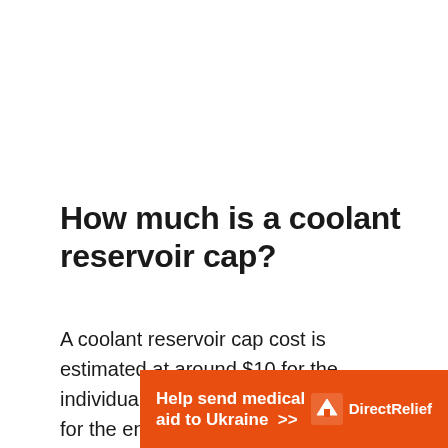How much is a coolant reservoir cap?
A coolant reservoir cap cost is estimated at around $10 for the individual cap and about $100 – $150 for the entire coolant reservoir kit. In contrast, the estimated cost of replacing a coolant recovery bottle is between $188 and $228. However, the
[Figure (other): Orange advertisement banner for Direct Relief: 'Help send medical aid to Ukraine >>' with Direct Relief logo on the right]